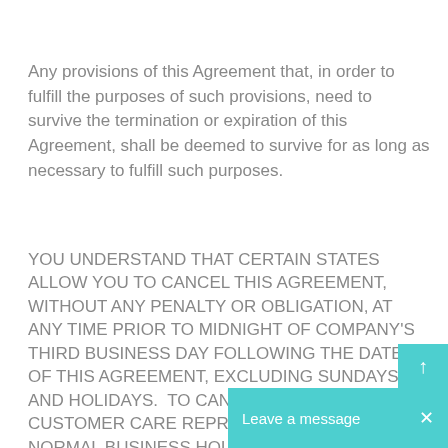Any provisions of this Agreement that, in order to fulfill the purposes of such provisions, need to survive the termination or expiration of this Agreement, shall be deemed to survive for as long as necessary to fulfill such purposes.
YOU UNDERSTAND THAT CERTAIN STATES ALLOW YOU TO CANCEL THIS AGREEMENT, WITHOUT ANY PENALTY OR OBLIGATION, AT ANY TIME PRIOR TO MIDNIGHT OF COMPANY'S THIRD BUSINESS DAY FOLLOWING THE DATE OF THIS AGREEMENT, EXCLUDING SUNDAYS AND HOLIDAYS.  TO CANCEL, CALL A COMPANY CUSTOMER CARE REPRESENTATIVE DURING NORMAL BUSINESS HOURS USING THE CONTACT INFORMATION LISTING BELOW IN THIS AGREEMENT OR